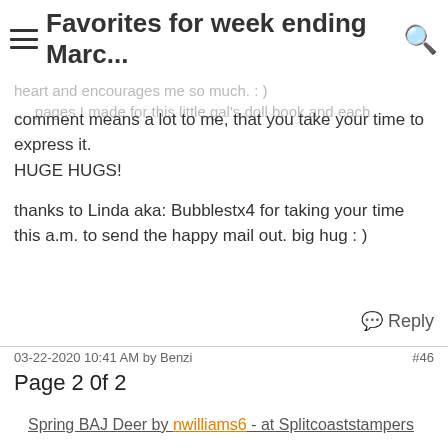Favorites for week ending Marc...
heart and encourages me so much. : ) ... pages I made for this little gal's doll book and each comment means a lot to me, that you take your time to express it.
HUGE HUGS!
thanks to Linda aka: Bubblestx4 for taking your time this a.m. to send the happy mail out. big hug : )
Reply
03-22-2020 10:41 AM by Benzi
#46
Page 2 0f 2
Spring BAJ Deer by nwilliams6 - at Splitcoaststampers
MIX373 USEIT2020 Beautiful Year by Shoe Girl - at Splitcoaststampers